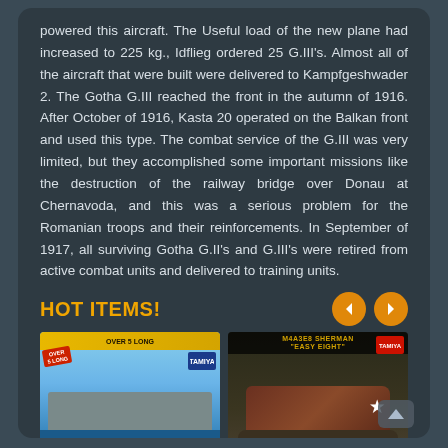powered this aircraft. The Useful load of the new plane had increased to 225 kg., Idflieg ordered 25 G.III's. Almost all of the aircraft that were built were delivered to Kampfgeshwader 2. The Gotha G.III reached the front in the autumn of 1916. After October of 1916, Kasta 20 operated on the Balkan front and used this type. The combat service of the G.III was very limited, but they accomplished some important missions like the destruction of the railway bridge over Donau at Chernavoda, and this was a serious problem for the Romanian troops and their reinforcements. In September of 1917, all surviving Gotha G.II's and G.III's were retired from active combat units and delivered to training units.
HOT ITEMS!
[Figure (photo): Trumpeter Models 1/200 USS Yorktown CVS Aircraft Carrier Kit product box art showing a naval carrier at sea]
[Figure (photo): Tamiya M4A3E8 Sherman Easy Eight product box art showing a Sherman tank]